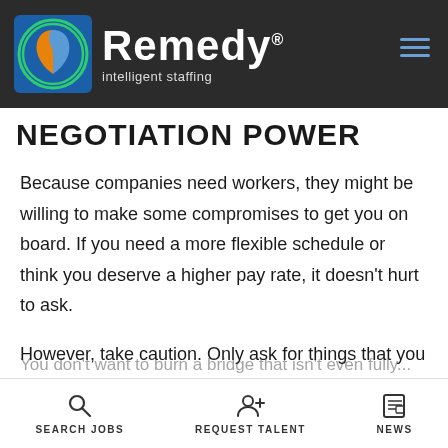Remedy intelligent staffing
NEGOTIATION POWER
Because companies need workers, they might be willing to make some compromises to get you on board. If you need a more flexible schedule or think you deserve a higher pay rate, it doesn't hurt to ask.
However, take caution. Only ask for things that you actually need or feel confident you are qualified for. Be ready to provide explanation behind your request and work hard to prove you are worth it.
You don't want to burn a bridge that isn't even fully...
SEARCH JOBS   REQUEST TALENT   NEWS